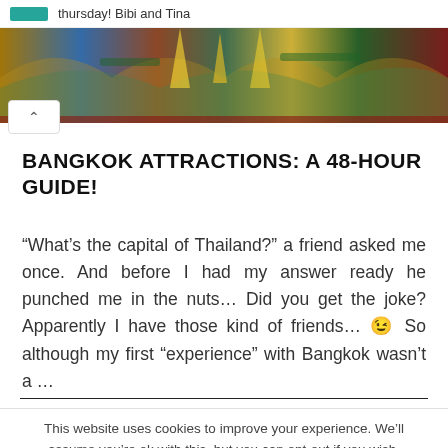thursday! Bibi and Tina
[Figure (photo): Header image showing Bangkok temple architecture with colorful decorations]
BANGKOK ATTRACTIONS: A 48-HOUR GUIDE!
“What’s the capital of Thailand?” a friend asked me once. And before I had my answer ready he punched me in the nuts… Did you get the joke? Apparently I have those kind of friends… 😉 So although my first “experience” with Bangkok wasn’t a …
This website uses cookies to improve your experience. We’ll assume you’re ok with this, but you can opt-out if you wish.